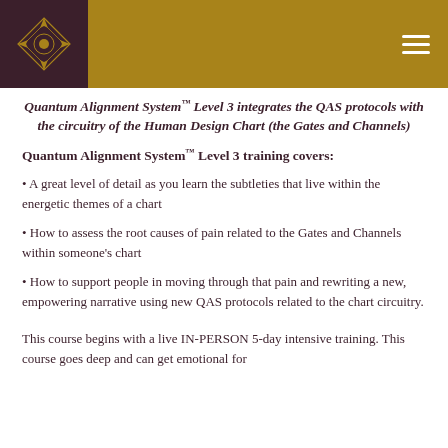[Figure (logo): Decorative mandala-style logo in gold on dark maroon background, header bar in gold/mustard color with hamburger menu icon on right]
Quantum Alignment System™ Level 3 integrates the QAS protocols with the circuitry of the Human Design Chart (the Gates and Channels)
Quantum Alignment System™ Level 3 training covers:
A great level of detail as you learn the subtleties that live within the energetic themes of a chart
How to assess the root causes of pain related to the Gates and Channels within someone's chart
How to support people in moving through that pain and rewriting a new, empowering narrative using new QAS protocols related to the chart circuitry.
This course begins with a live IN-PERSON 5-day intensive training. This course goes deep and can get emotional for